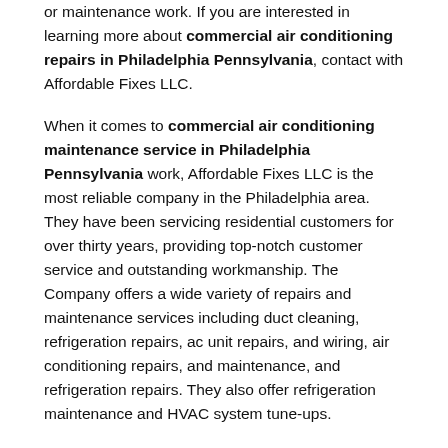or maintenance work. If you are interested in learning more about commercial air conditioning repairs in Philadelphia Pennsylvania, contact with Affordable Fixes LLC.
When it comes to commercial air conditioning maintenance service in Philadelphia Pennsylvania work, Affordable Fixes LLC is the most reliable company in the Philadelphia area. They have been servicing residential customers for over thirty years, providing top-notch customer service and outstanding workmanship. The Company offers a wide variety of repairs and maintenance services including duct cleaning, refrigeration repairs, ac unit repairs, and wiring, air conditioning repairs, and maintenance, and refrigeration repairs. They also offer refrigeration maintenance and HVAC system tune-ups.